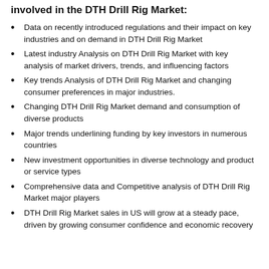involved in the DTH Drill Rig Market:
Data on recently introduced regulations and their impact on key industries and on demand in DTH Drill Rig Market
Latest industry Analysis on DTH Drill Rig Market with key analysis of market drivers, trends, and influencing factors
Key trends Analysis of DTH Drill Rig Market and changing consumer preferences in major industries.
Changing DTH Drill Rig Market demand and consumption of diverse products
Major trends underlining funding by key investors in numerous countries
New investment opportunities in diverse technology and product or service types
Comprehensive data and Competitive analysis of DTH Drill Rig Market major players
DTH Drill Rig Market sales in US will grow at a steady pace, driven by growing consumer confidence and economic recovery